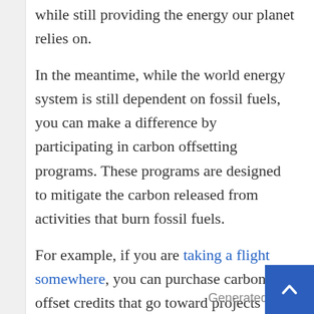while still providing the energy our planet relies on.
In the meantime, while the world energy system is still dependent on fossil fuels, you can make a difference by participating in carbon offsetting programs. These programs are designed to mitigate the carbon released from activities that burn fossil fuels.
For example, if you are taking a flight somewhere, you can purchase carbon offset credits that go toward projects that support reducing the amount of carbon in the atmosphere. Visit Terrapass today and view all of our carbon offset programs for individuals and businesses.
Generated by Fee